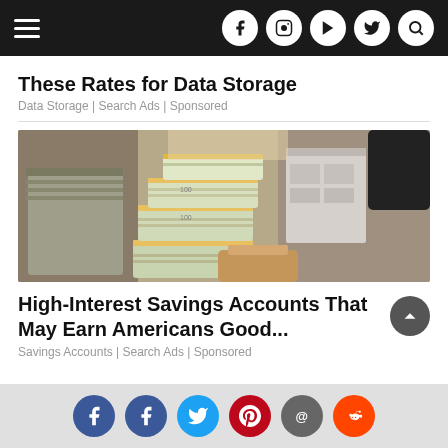Navigation bar with hamburger menu and social icons (Facebook, Instagram, YouTube, Twitter, Search)
These Rates for Data Storage
Data Storage | Search Ads | Sponsored
[Figure (photo): Overhead view of stacks of bundled US $100 dollar bills in a cardboard box, with white archival storage boxes visible on the right side and a hand holding a bundle in the foreground.]
High-Interest Savings Accounts That May Earn Americans Good...
Savings Accounts | Search Ads | Sponsored
Social share buttons: Facebook, Facebook, Twitter, Pinterest, Email, Reddit